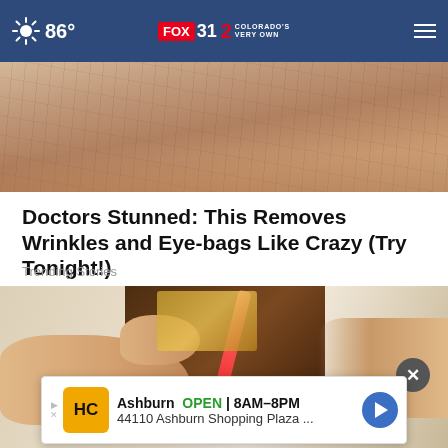86° FOX 31 2 COLORADO'S VERY OWN
[Figure (photo): Close-up of aged human skin showing wrinkles and texture, brownish-tan tones]
Doctors Stunned: This Removes Wrinkles and Eye-bags Like Crazy (Try Tonight!)
Trending Stories
[Figure (photo): Hands holding an open wallet with a Crayola crayon and euro banknotes visible inside]
Ashburn OPEN | 8AM–8PM 44110 Ashburn Shopping Plaza ...